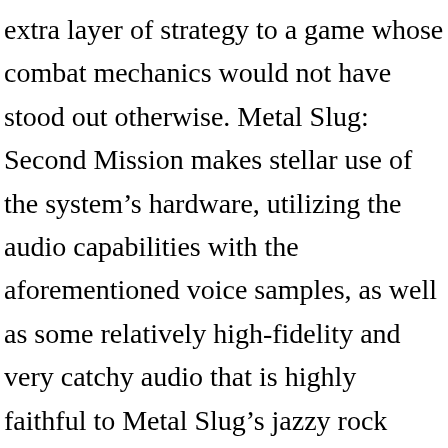extra layer of strategy to a game whose combat mechanics would not have stood out otherwise. Metal Slug: Second Mission makes stellar use of the system's hardware, utilizing the audio capabilities with the aforementioned voice samples, as well as some relatively high-fidelity and very catchy audio that is highly faithful to Metal Slug's jazzy rock music style. It is a fine sports game, and a must-have title for Neo Geo Pocket Color owners. Vincewy, Bobak!, Nick_th_fury (thanks for the kickass logo! To get $10 off...